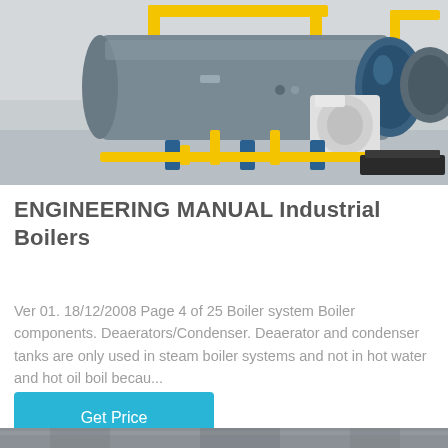[Figure (photo): Industrial boiler system with blue cylindrical boiler vessel, yellow piping, and blower unit on a concrete floor inside an industrial facility.]
ENGINEERING MANUAL Industrial Boilers
Ver 01. 18/12/2008 Page 4 of 25 Boiler system Boiler components. Deaerators/Condenser. Deaerator and condenser tanks are only used in steam boiler systems and not in hot water and hot oil boil becau...
Get Price
[Figure (photo): Partial view of another industrial boiler or mechanical equipment at the bottom of the page.]